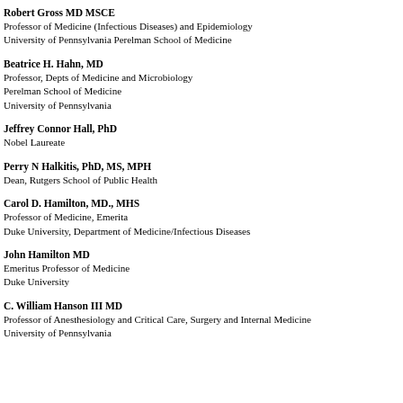Robert Gross MD MSCE
Professor of Medicine (Infectious Diseases) and Epidemiology
University of Pennsylvania Perelman School of Medicine
Beatrice H. Hahn, MD
Professor, Depts of Medicine and Microbiology
Perelman School of Medicine
University of Pennsylvania
Jeffrey Connor Hall, PhD
Nobel Laureate
Perry N Halkitis, PhD, MS, MPH
Dean, Rutgers School of Public Health
Carol D. Hamilton, MD., MHS
Professor of Medicine, Emerita
Duke University, Department of Medicine/Infectious Diseases
John Hamilton MD
Emeritus Professor of Medicine
Duke University
C. William Hanson III MD
Professor of Anesthesiology and Critical Care, Surgery and Internal Medicine
University of Pennsylvania